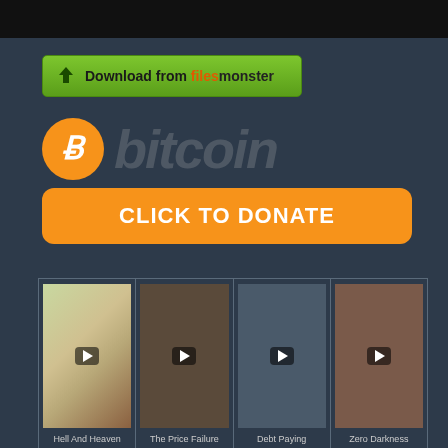[Figure (screenshot): Black top navigation bar]
[Figure (screenshot): Green download button with arrow icon saying 'Download from filesmonster']
[Figure (logo): Bitcoin logo with orange circle and B symbol, text 'bitcoin' in gray italic, orange 'CLICK TO DONATE' button]
[Figure (screenshot): 4-column video grid with thumbnails: Hell And Heaven (anime), The Price Failure, Debt Paying, Zero Darkness]